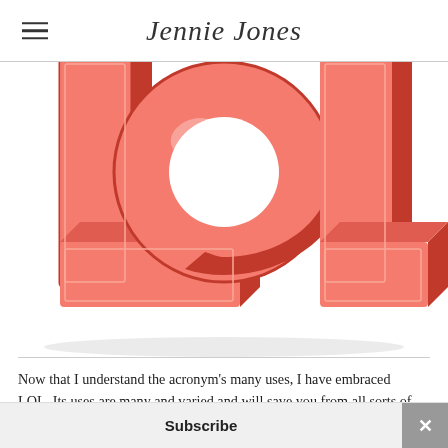Jennie Jones
[Figure (illustration): 3D red block letters spelling LOL on a white background, partially cropped at the top.]
Now that I understand the acronym's many uses, I have embraced LOL. Its uses are many and varied and will save you from all sorts of situations. Let's take a look at some ways LOL/lol can be used.
Subscribe ×